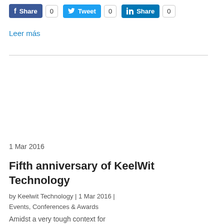[Figure (other): Social share buttons: Facebook Share (0), Twitter Tweet (0), LinkedIn Share (0)]
Leer más
1 Mar 2016
Fifth anniversary of KeelWit Technology
by Keelwit Technology | 1 Mar 2016 | Events, Conferences & Awards
Amidst a very tough context for